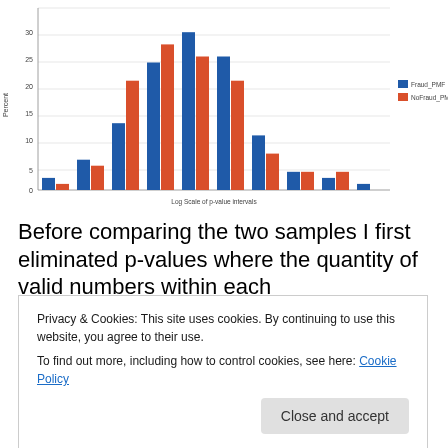[Figure (grouped-bar-chart): ]
Before comparing the two samples I first eliminated p-values where the quantity of valid numbers within each
for both test and training set. I then setup intervals of 0,